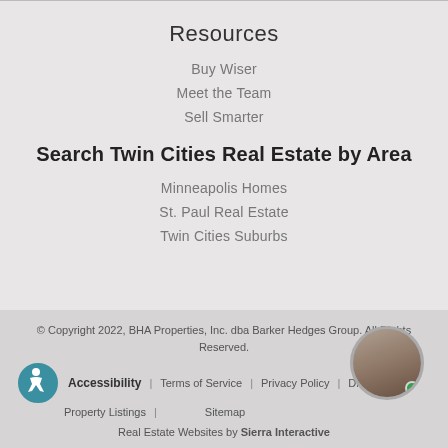Resources
Buy Wiser
Meet the Team
Sell Smarter
Search Twin Cities Real Estate by Area
Minneapolis Homes
St. Paul Real Estate
Twin Cities Suburbs
© Copyright 2022, BHA Properties, Inc. dba Barker Hedges Group. All Rights Reserved.
Accessibility | Terms of Service | Privacy Policy | DMCA Notice | Property Listings | Sitemap
Real Estate Websites by Sierra Interactive